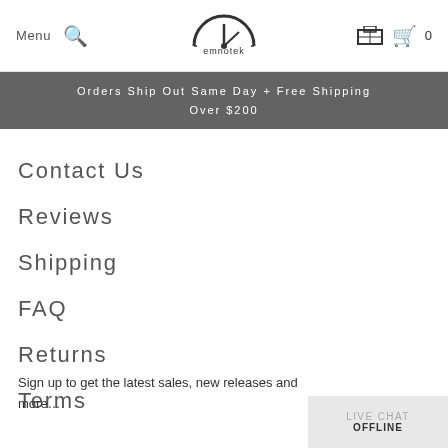Menu | [search] | EMNOTEK | [store icon] | 0
Orders Ship Out Same Day + Free Shipping Over $200
Contact Us
Reviews
Shipping
FAQ
Returns
Terms
Sign up to get the latest sales, new releases and more…
LIVE CHAT OFFLINE